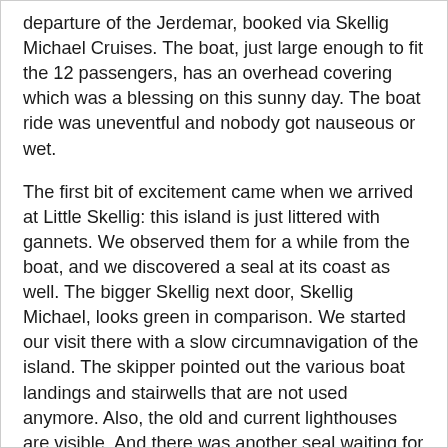departure of the Jerdemar, booked via Skellig Michael Cruises. The boat, just large enough to fit the 12 passengers, has an overhead covering which was a blessing on this sunny day. The boat ride was uneventful and nobody got nauseous or wet.
The first bit of excitement came when we arrived at Little Skellig: this island is just littered with gannets. We observed them for a while from the boat, and we discovered a seal at its coast as well. The bigger Skellig next door, Skellig Michael, looks green in comparison. We started our visit there with a slow circumnavigation of the island. The skipper pointed out the various boat landings and stairwells that are not used anymore. Also, the old and current lighthouses are visible. And there was another seal waiting for us.
We disembarked at 10.20, so almost 2 hours after we left Portmagee. The landings of the 180 daily visitors